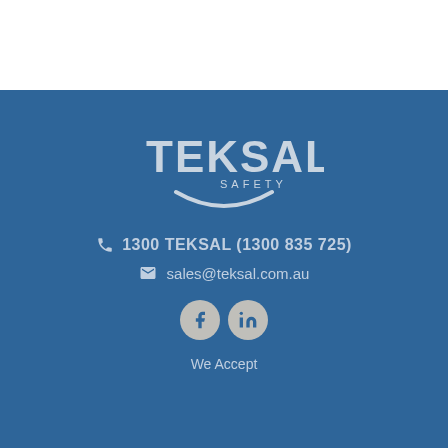[Figure (logo): TEKSAL SAFETY company logo in light grey/silver on blue background]
1300 TEKSAL (1300 835 725)
sales@teksal.com.au
[Figure (illustration): Facebook and LinkedIn social media icons as circular buttons]
We Accept